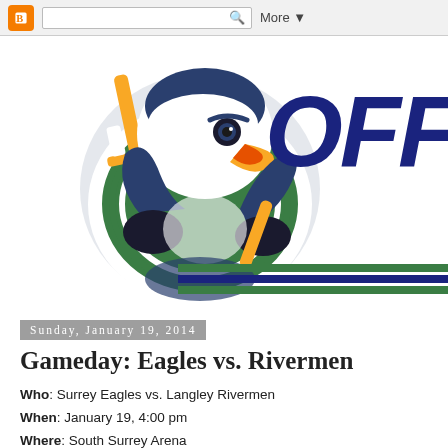Blogger navigation bar with search box and More button
[Figure (illustration): Surrey Eagles hockey team mascot logo — eagle holding a hockey stick, with green and white striped jersey. Partially visible italic bold text 'OFF' in dark navy blue on the right, with green, navy, and green horizontal stripes below.]
Sunday, January 19, 2014
Gameday: Eagles vs. Rivermen
Who: Surrey Eagles vs. Langley Rivermen
When: January 19, 4:00 pm
Where: South Surrey Arena
TICKETS: surreyeagles.ca
Pay-Per-View: FAST Hockey
Radio: Ustream